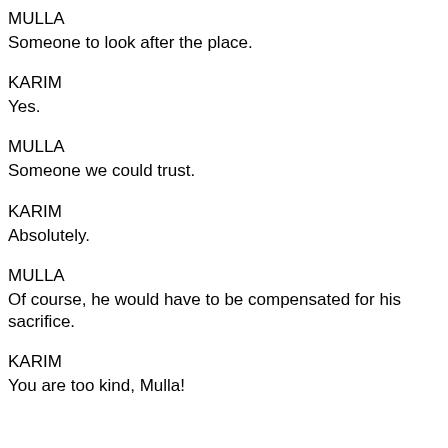MULLA
Someone to look after the place.
KARIM
Yes.
MULLA
Someone we could trust.
KARIM
Absolutely.
MULLA
Of course, he would have to be compensated for his sacrifice.
KARIM
You are too kind, Mulla!